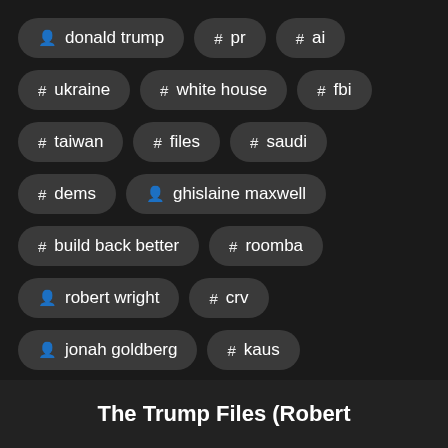person donald trump
# pr
# ai
# ukraine
# white house
# fbi
# taiwan
# files
# saudi
# dems
person ghislaine maxwell
# build back better
# roomba
person robert wright
# crv
person jonah goldberg
# kaus
# bob how
The Trump Files (Robert